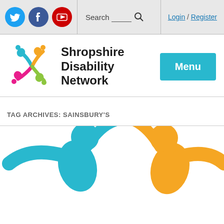Social icons (Twitter, Facebook, YouTube), Search, Login / Register
[Figure (logo): Shropshire Disability Network logo with colorful figures and organisation name, plus Menu button]
TAG ARCHIVES: SAINSBURY'S
[Figure (logo): Partial Shropshire Disability Network logo showing two large figures (blue and orange) at bottom of page]